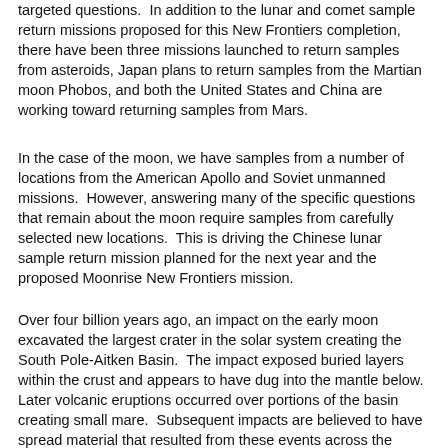targeted questions.  In addition to the lunar and comet sample return missions proposed for this New Frontiers completion, there have been three missions launched to return samples from asteroids, Japan plans to return samples from the Martian moon Phobos, and both the United States and China are working toward returning samples from Mars.
In the case of the moon, we have samples from a number of locations from the American Apollo and Soviet unmanned missions.  However, answering many of the specific questions that remain about the moon require samples from carefully selected new locations.  This is driving the Chinese lunar sample return mission planned for the next year and the proposed Moonrise New Frontiers mission.
Over four billion years ago, an impact on the early moon excavated the largest crater in the solar system creating the South Pole-Aitken Basin.  The impact exposed buried layers within the crust and appears to have dug into the mantle below.  Later volcanic eruptions occurred over portions of the basin creating small mare.  Subsequent impacts are believed to have spread material that resulted from these events across the basin.  A kilogram or two of soil (technically, regolith) from this basin should include samples from across this basin that would ground-truth our understanding of the